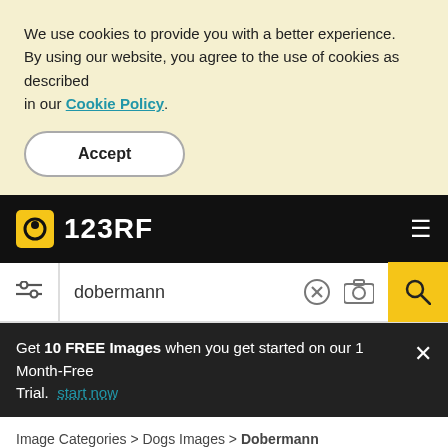We use cookies to provide you with a better experience. By using our website, you agree to the use of cookies as described in our Cookie Policy.
Accept
123RF
dobermann
Get 10 FREE Images when you get started on our 1 Month-Free Trial. start now
Image Categories > Dogs Images > Dobermann
Dobermann Stock Vectors, Clipart and Illustrations